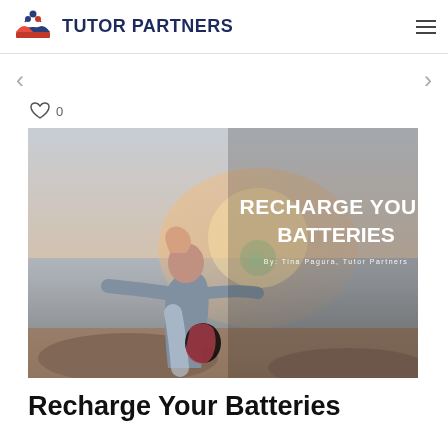TUTOR PARTNERS
[Figure (photo): A child at the beach with arms outstretched, backlit by warm sunlight, overlaid with white bold text reading RECHARGE YOUR BATTERIES and author credit By: Tina Pagura, Tutor Partners]
Recharge Your Batteries